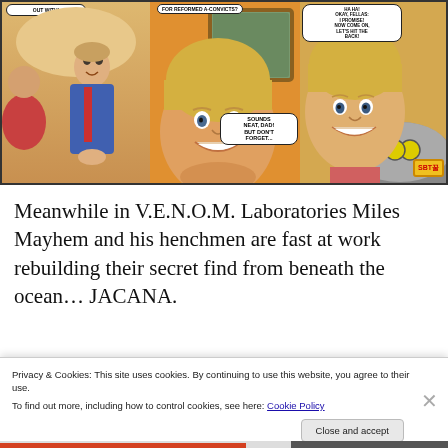[Figure (illustration): Comic book panels showing characters with speech bubbles. Left panel: man in blue suit. Middle panel: blonde young man smiling, speech bubble 'SOUNDS NEAT, DAD! BUT DON'T FORGET...'. Right panel: blonde teen smiling near car, speech bubbles 'HA HA! OKAY, FELLAS: I PROMISE! NOW COME ON, LET'S HIT THE BACK!' and smaller text at top 'FOR REFORMED A-CONVICTS?'. Top left partial speech bubble 'OUT WITH!' Yellow/orange SBT꿀 badge in bottom right corner.]
Meanwhile in V.E.N.O.M. Laboratories Miles Mayhem and his henchmen are fast at work rebuilding their secret find from beneath the ocean… JACANA.
Privacy & Cookies: This site uses cookies. By continuing to use this website, you agree to their use.
To find out more, including how to control cookies, see here: Cookie Policy
[Close and accept]